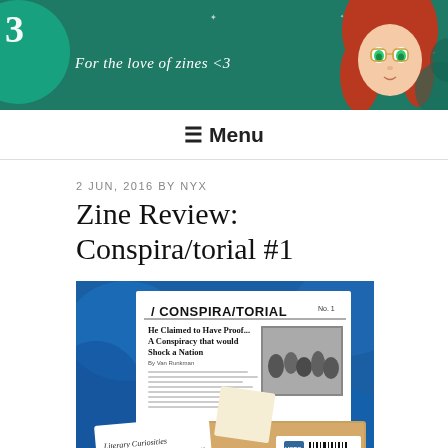[Figure (illustration): Website header banner with teal/green background, text 'For the love of zines <3', illustrated character with red hair and green eyes and glasses on the right, a partial circle/logo on the left]
≡ Menu
2 JUN, 2016 BY NYX
Zine Review: Conspira/torial #1
[Figure (photo): Photograph of the zine 'Conspira/torial No. 1' laid out on a blue patterned background, showing the headline 'He Claimed to Have Proof... A Conspiracy that would Shock a Nation', a business card reading 'Literary Curiosities', and a mailing envelope with a $2.21 postage label]